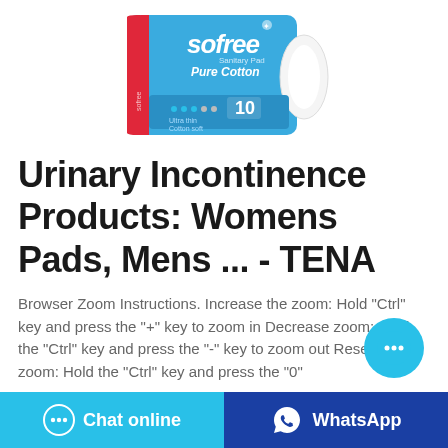[Figure (photo): Sofree Sanitary Pad Pure Cotton package, blue packaging with 10 pads, product image showing white pad on right side]
Urinary Incontinence Products: Womens Pads, Mens ... - TENA
Browser Zoom Instructions. Increase the zoom: Hold "Ctrl" key and press the "+" key to zoom in Decrease zoom: Hold the "Ctrl" key and press the "-" key to zoom out Reset the zoom: Hold the "Ctrl" key and press the "0"